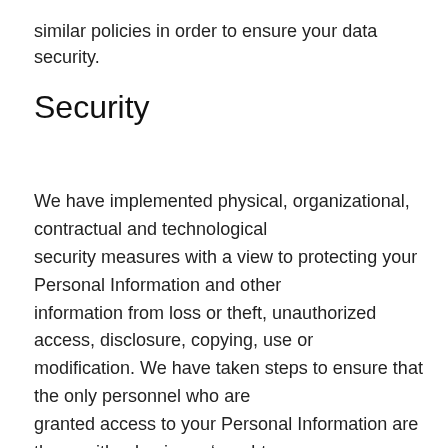similar policies in order to ensure your data security.
Security
We have implemented physical, organizational, contractual and technological security measures with a view to protecting your Personal Information and other information from loss or theft, unauthorized access, disclosure, copying, use or modification. We have taken steps to ensure that the only personnel who are granted access to your Personal Information are those with a business ‘need-to-know’ or whose duties reasonably require such